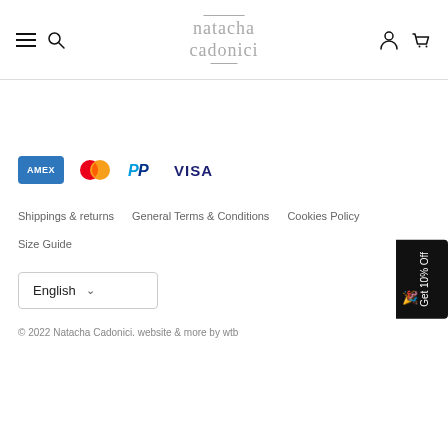natacha cadonici — navigation header with hamburger, search, account, and cart icons
[Figure (logo): Natacha Cadonici brand logo in light grey serif font with overline and underline decorations]
[Figure (infographic): Payment method icons: AMEX, Mastercard, PayPal, VISA]
Shippings & returns
General Terms & Conditions
Cookies Policy
Size Guide
English (dropdown selector)
© 2022 Natacha Cadonici. website & more by wtb